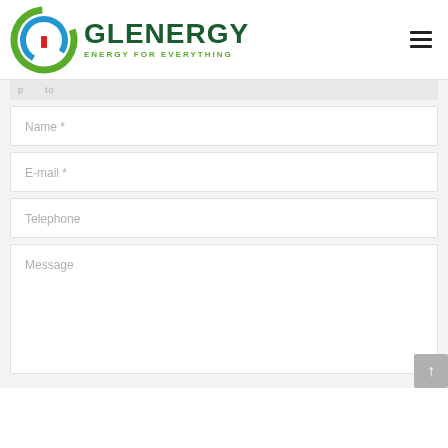[Figure (logo): Glenergy logo with circular icon and text 'GLENERGY / ENERGY FOR EVERYTHING']
Name *
E-mail *
Telephone
Message